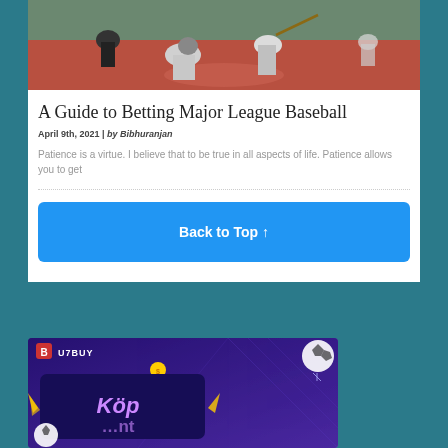[Figure (photo): Baseball game photo showing catcher and batter at home plate on a baseball field]
A Guide to Betting Major League Baseball
April 9th, 2021 | by Bibhuranjan
Patience is a virtue. I believe that to be true in all aspects of life. Patience allows you to get
Back to Top ↑
[Figure (illustration): U7BUY advertisement banner with purple background, soccer balls, and text 'Köp' in pink/purple lettering]